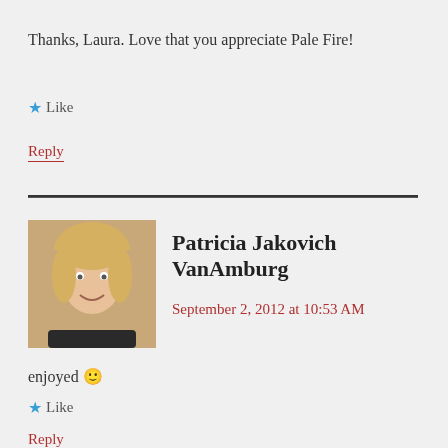Thanks, Laura. Love that you appreciate Pale Fire!
★ Like
Reply
Patricia Jakovich VanAmburg
September 2, 2012 at 10:53 AM
enjoyed 🙂
★ Like
Reply